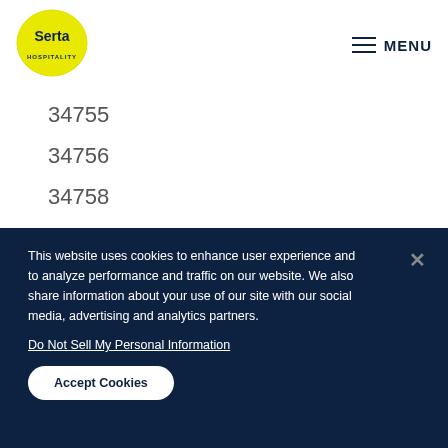[Figure (logo): Serta Hospitality logo — oval yellow circle with dark blue 'Serta' text and 'HOSPITALITY' below]
MENU
34755
34756
34758
34759
34760
34761
This website uses cookies to enhance user experience and to analyze performance and traffic on our website. We also share information about your use of our site with our social media, advertising and analytics partners.
Do Not Sell My Personal Information
Accept Cookies